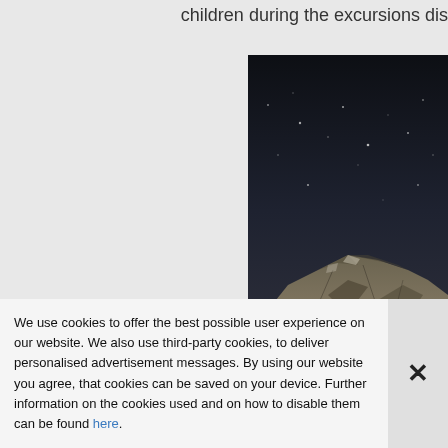children during the excursions dis
[Figure (photo): Night sky photograph showing a mountain peak in the foreground against a dark starry sky]
We use cookies to offer the best possible user experience on our website. We also use third-party cookies, to deliver personalised advertisement messages. By using our website you agree, that cookies can be saved on your device. Further information on the cookies used and on how to disable them can be found here.